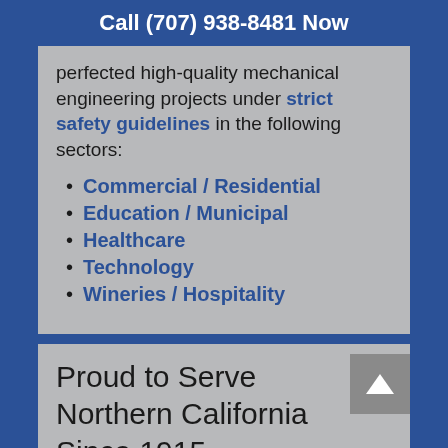Call (707) 938-8481 Now
perfected high-quality mechanical engineering projects under strict safety guidelines in the following sectors:
Commercial / Residential
Education / Municipal
Healthcare
Technology
Wineries / Hospitality
Proud to Serve Northern California Since 1915
Contra Costa County